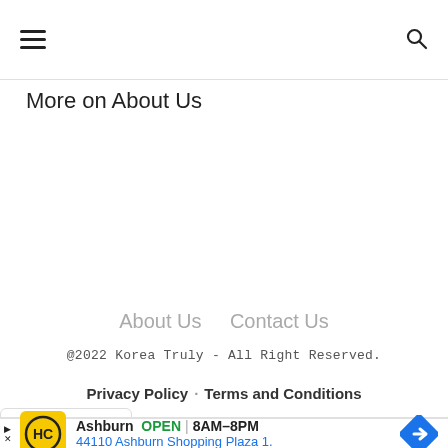hamburger menu | search icon
More on About Us
About Us   Contact Us
@2022 Korea Truly - All Right Reserved.
Privacy Policy · Terms and Conditions
[Figure (other): Dropdown chevron button in bottom-left corner]
[Figure (other): Advertisement banner: HC logo, Ashburn OPEN 8AM-8PM, 44110 Ashburn Shopping Plaza 1., direction arrow icon]